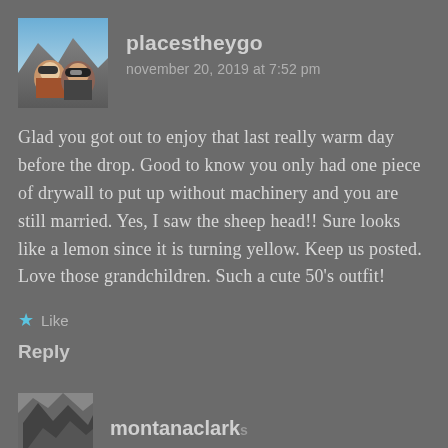[Figure (photo): Avatar photo of two people outdoors in a mountainous area]
placestheygo
november 20, 2019 at 7:52 pm
Glad you got out to enjoy that last really warm day before the drop. Good to know you only had one piece of drywall to put up without machinery and you are still married. Yes, I saw the sheep head!! Sure looks like a lemon since it is turning yellow. Keep us posted. Love those grandchildren. Such a cute 50's outfit!
Like
Reply
[Figure (photo): Partial avatar image for second commenter montanaclark]
montanaclark